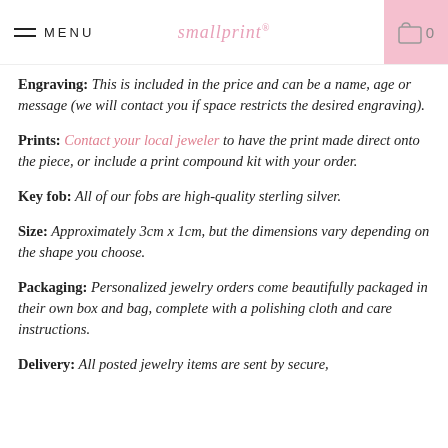MENU  smallprint  0
Engraving: This is included in the price and can be a name, age or message (we will contact you if space restricts the desired engraving).
Prints: Contact your local jeweler to have the print made direct onto the piece, or include a print compound kit with your order.
Key fob: All of our fobs are high-quality sterling silver.
Size: Approximately 3cm x 1cm, but the dimensions vary depending on the shape you choose.
Packaging: Personalized jewelry orders come beautifully packaged in their own box and bag, complete with a polishing cloth and care instructions.
Delivery: All posted jewelry items are sent by secure,